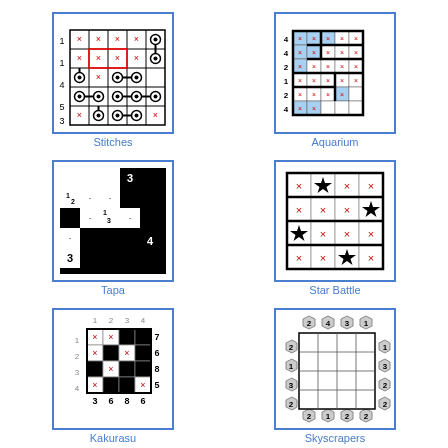[Figure (other): Stitches puzzle grid with numbers 1,1,4,5,3 on left, connected domino pieces and red X marks]
Stitches
[Figure (other): Aquarium puzzle grid with numbers on left (4,4,2,1,2,4), blue water-filled cells and red X marks]
Aquarium
[Figure (other): Tapa puzzle with black/white cells and clue numbers 3,1,2,1,3,4,3]
Tapa
[Figure (other): Star Battle puzzle with 4x4 grid, star symbols and red X marks dividing regions]
Star Battle
[Figure (other): Kakurasu puzzle with 4x4 grid, column labels 1-4, row labels 1-4, black cells and red X, sums on sides: 7,6,8,5 and 3,6,8,6]
Kakurasu
[Figure (other): Skyscrapers puzzle with hexagonal clue tokens showing numbers 2,4,3,1 on top; 2,1,2,2 on bottom; 2,1,3,2 on left; 1,3,2,2 on right, 4x4 inner grid]
Skyscrapers